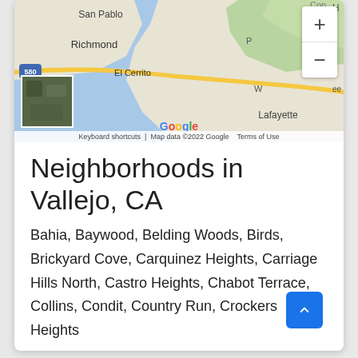[Figure (map): Google Maps screenshot showing San Pablo Bay area including Richmond, El Cerrito, Lafayette, San Pablo, with zoom controls and Google branding. Map data ©2022 Google.]
Neighborhoods in Vallejo, CA
Bahia, Baywood, Belding Woods, Birds, Brickyard Cove, Carquinez Heights, Carriage Hills North, Castro Heights, Chabot Terrace, Collins, Condit, Country Run, Crockers Heights